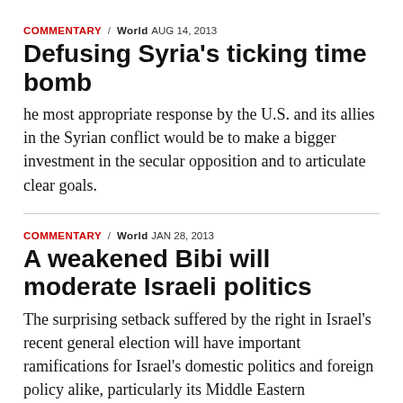COMMENTARY / WORLD AUG 14, 2013
Defusing Syria's ticking time bomb
he most appropriate response by the U.S. and its allies in the Syrian conflict would be to make a bigger investment in the secular opposition and to articulate clear goals.
COMMENTARY / WORLD JAN 28, 2013
A weakened Bibi will moderate Israeli politics
The surprising setback suffered by the right in Israel's recent general election will have important ramifications for Israel's domestic politics and foreign policy alike, particularly its Middle Eastern diplomacy.